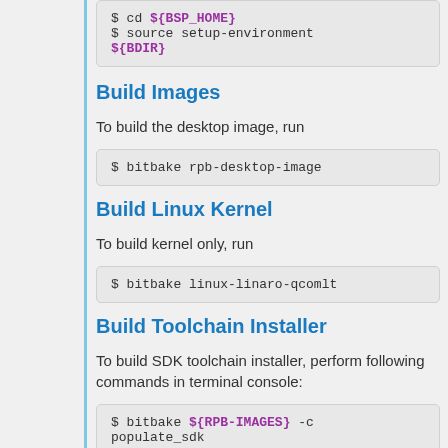$ cd ${BSP_HOME}
$ source setup-environment ${BDIR}
Build Images
To build the desktop image, run
$ bitbake rpb-desktop-image
Build Linux Kernel
To build kernel only, run
$ bitbake linux-linaro-qcomlt
Build Toolchain Installer
To build SDK toolchain installer, perform following commands in terminal console:
$ bitbake ${RPB-IMAGES} -c populate_sdk